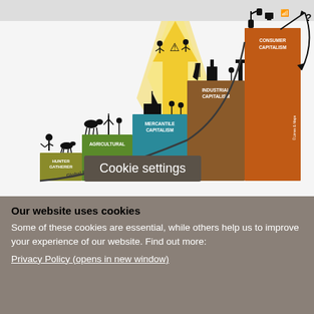[Figure (infographic): Staircase infographic showing stages of capitalism and their global environmental impact. Steps from left to right, growing in height: Hunter Gatherer (olive/dark yellow), Agricultural (green), Mercantile Capitalism (teal/blue), Industrial Capitalism (brown), Consumer Capitalism (orange). A curved arrow showing 'Global Environmental Impact' rises steeply across steps. A yellow arrow points upward in the background. Silhouette icons of people and animals on each step. On the far right an arrow goes up and curves down with a '?' symbol.]
Cookie settings
Our website uses cookies
Some of these cookies are essential, while others help us to improve your experience of our website. Find out more:
Privacy Policy (opens in new window)